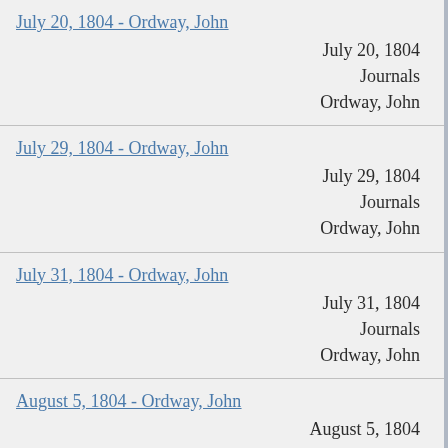July 20, 1804 - Ordway, John
July 20, 1804
Journals
Ordway, John
July 29, 1804 - Ordway, John
July 29, 1804
Journals
Ordway, John
July 31, 1804 - Ordway, John
July 31, 1804
Journals
Ordway, John
August 5, 1804 - Ordway, John
August 5, 1804
Journals
Ordway, John